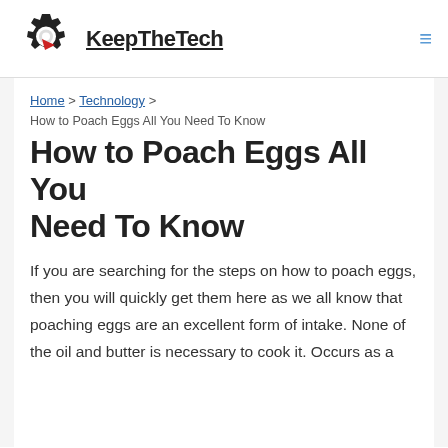KeepTheTech
Home > Technology > How to Poach Eggs All You Need To Know
How to Poach Eggs All You Need To Know
If you are searching for the steps on how to poach eggs, then you will quickly get them here as we all know that poaching eggs are an excellent form of intake. None of the oil and butter is necessary to cook it. Occurs as a